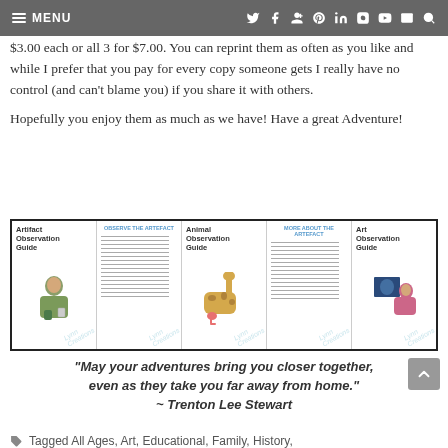MENU | social icons
$3.00 each or all 3 for $7.00. You can reprint them as often as you like and while I prefer that you pay for every copy someone gets I really have no control (and can't blame you) if you share it with others.
Hopefully you enjoy them as much as we have! Have a great Adventure!
[Figure (illustration): Three observation guide booklets: Artifact Observation Guide (with illustrated figure), Animal Observation Guide (with giraffe and flamingo illustrations), and Art Observation Guide (with illustrated figure looking at artwork). All have 'Lynn Creations' watermark.]
“May your adventures bring you closer together, even as they take you far away from home.” ~ Trenton Lee Stewart
Tagged All Ages, Art, Educational, Family, History, Homeschool, Museum, Parenting, Science, Simple Player